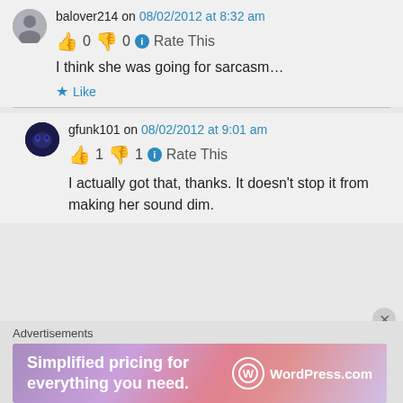balover214 on 08/02/2012 at 8:32 am
👍 0 👎 0 ℹ Rate This
I think she was going for sarcasm…
★ Like
gfunk101 on 08/02/2012 at 9:01 am
👍 1 👎 1 ℹ Rate This
I actually got that, thanks. It doesn't stop it from making her sound dim.
Advertisements
[Figure (other): WordPress.com advertisement banner: 'Simplified pricing for everything you need.' with WordPress.com logo]